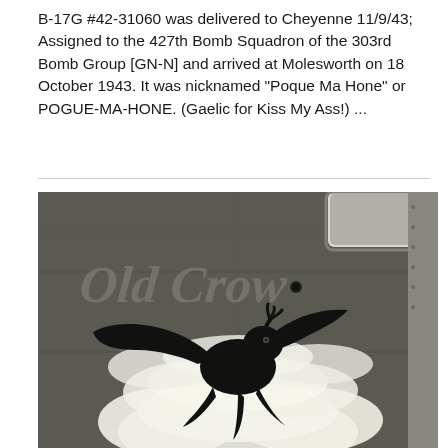B-17G #42-31060 was delivered to Cheyenne 11/9/43; Assigned to the 427th Bomb Squadron of the 303rd Bomb Group [GN-N] and arrived at Molesworth on 18 October 1943. It was nicknamed "Poque Ma Hone" or POGUE-MA-HONE. (Gaelic for Kiss My Ass!) ...
[Figure (photo): Black and white photograph of a B-17G bomber nose art showing a black bird (crow/raven) with wings spread against white clouds, painted on the fuselage. Old English style lettering visible in the background on the aircraft skin.]